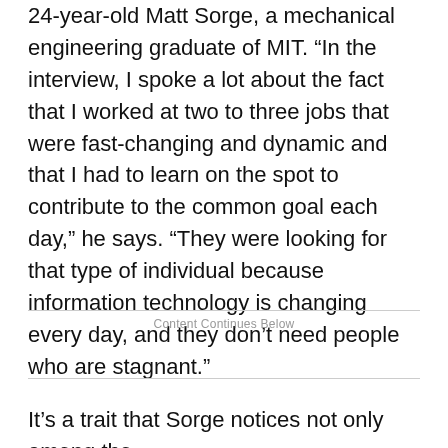24-year-old Matt Sorge, a mechanical engineering graduate of MIT. “In the interview, I spoke a lot about the fact that I worked at two to three jobs that were fast-changing and dynamic and that I had to learn on the spot to contribute to the common goal each day,” he says. “They were looking for that type of individual because information technology is changing every day, and they don’t need people who are stagnant.”
Content Continues Below
It’s a trait that Sorge notices not only among the